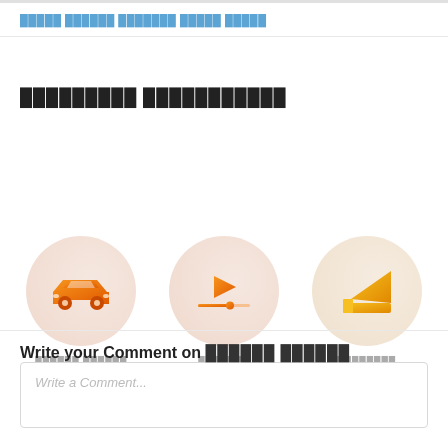[navigation breadcrumb link text in non-Latin script]
[Section header in non-Latin script]
[Figure (illustration): Three circular icons: a car icon (orange gradient), a video play button icon (orange), and a scissors/cut icon (yellow-orange), each with a label in non-Latin script below]
Write your Comment on [non-Latin text]
Write a Comment...